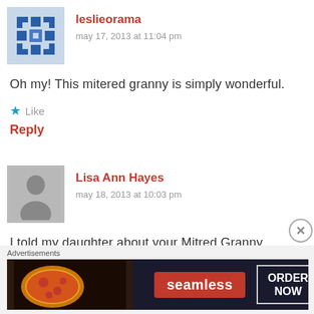[Figure (illustration): User avatar for leslieorama: blue snowflake/quilt-pattern avatar icon]
leslieorama
may 17, 2013 at 11:04 pm
Oh my! This mitered granny is simply wonderful.
★ Like
Reply
[Figure (illustration): Generic gray silhouette avatar for Lisa Ann Hayes]
Lisa Ann Hayes
may 18, 2013 at 10:03 pm
I told my daughter about your Mitred Granny
Advertisements
[Figure (other): Seamless food delivery advertisement banner with pizza image, seamless logo, and ORDER NOW button]